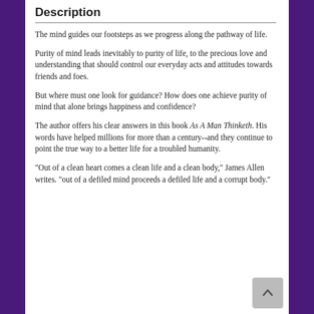Description
The mind guides our footsteps as we progress along the pathway of life.
Purity of mind leads inevitably to purity of life, to the precious love and understanding that should control our everyday acts and attitudes towards friends and foes.
But where must one look for guidance? How does one achieve purity of mind that alone brings happiness and confidence?
The author offers his clear answers in this book As A Man Thinketh. His words have helped millions for more than a century--and they continue to point the true way to a better life for a troubled humanity.
"Out of a clean heart comes a clean life and a clean body," James Allen writes. "out of a defiled mind proceeds a defiled life and a corrupt body."